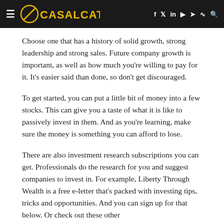CASALCATALASV
Choose one that has a history of solid growth, strong leadership and strong sales. Future company growth is important, as well as how much you're willing to pay for it. It's easier said than done, so don't get discouraged.
To get started, you can put a little bit of money into a few stocks. This can give you a taste of what it is like to passively invest in them. And as you're learning, make sure the money is something you can afford to lose.
There are also investment research subscriptions you can get. Professionals do the research for you and suggest companies to invest in. For example, Liberty Through Wealth is a free e-letter that's packed with investing tips, tricks and opportunities. And you can sign up for that below. Or check out these other